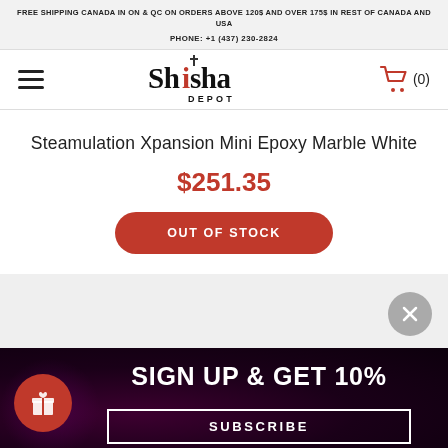FREE SHIPPING CANADA IN ON & QC ON ORDERS ABOVE 120$ AND OVER 175$ IN REST OF CANADA AND USA
PHONE: +1 (437) 230-2824
[Figure (logo): Shisha Depot logo with hamburger menu and cart icon showing (0) items]
Steamulation Xpansion Mini Epoxy Marble White
$251.35
OUT OF STOCK
SIGN UP & GET 10%
SUBSCRIBE